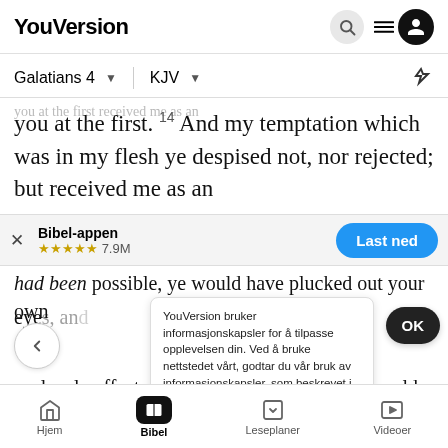YouVersion
Galatians 4   KJV
you at the first. 14 And my temptation which was in my flesh ye despised not, nor rejected; but received me as an
[Figure (screenshot): Bibel-appen app install banner with 5 stars, 7.9M rating, and 'Last ned' (Download) button]
had been possible, ye would have plucked out your own eyes, and... zealously affect you, but not well; yea, they would exclude
YouVersion bruker informasjonskapsler for å tilpasse opplevelsen din. Ved å bruke nettstedet vårt, godtar du vår bruk av informasjonskapsler, som beskrevet i vår personvernerklæring.
Hjem  Bibel  Leseplaner  Videoer